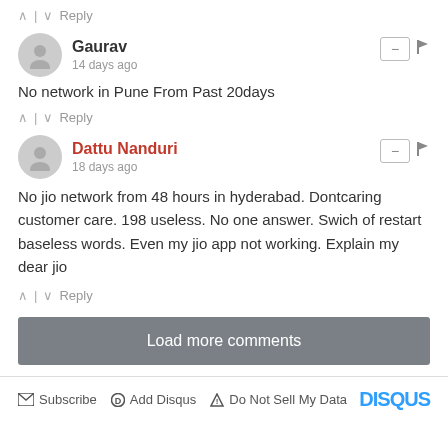↑ | ↓  Reply
Gaurav
14 days ago
No network in Pune From Past 20days
↑ | ↓  Reply
Dattu Nanduri
18 days ago
No jio network from 48 hours in hyderabad. Dontcaring customer care. 198 useless. No one answer. Swich of restart baseless words. Even my jio app not working. Explain my dear jio
↑ | ↓  Reply
Load more comments
Subscribe  Add Disqus  Do Not Sell My Data  DISQUS